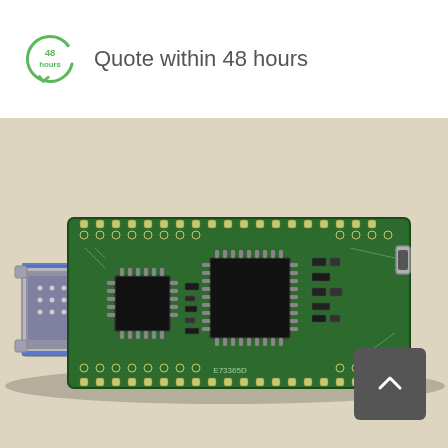Quote within 48 hours
[Figure (photo): Green PCB circuit board with two black chips, rows of through-hole pads, SMD components, a DB9 serial port connector on the left, and a micro-USB connector on the right. Board labeled E73365D. Photographed on a light beige surface.]